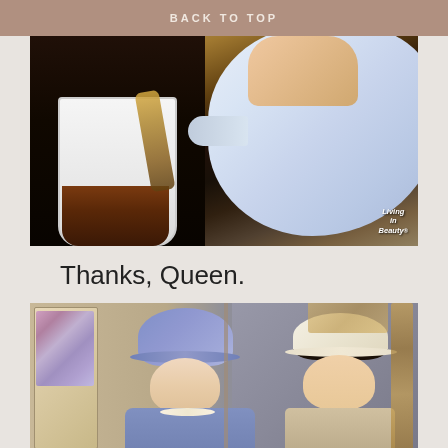BACK TO TOP
[Figure (photo): Close-up photo of tea being poured from a white teapot into a white mug, with 'Living in Beauty' watermark in bottom right corner]
Thanks, Queen.
[Figure (photo): Photo showing a Queen Elizabeth II cardboard cutout or poster wearing a blue outfit and hat, alongside a real person wearing a white Panama hat, in what appears to be a shop setting]